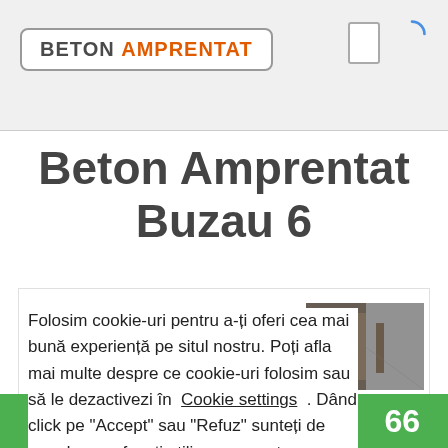BETON AMPRENTAT
Beton Amprentat Buzau 6
Folosim cookie-uri pentru a-ți oferi cea mai bună experiență pe situl nostru. Poți afla mai multe despre ce cookie-uri folosim sau să le dezactivezi în Cookie settings . Dând click pe "Accept" sau "Refuz" sunteți de acord sau refuzați utilizarea acestor tehnologii în scopuri de marketing și analitice.
[Figure (photo): Small thumbnail photo of construction/beton work]
66